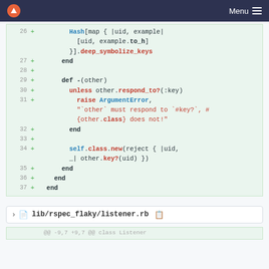Menu
[Figure (screenshot): Code diff showing Ruby code lines 26-37 with additions marked by '+', including Hash.new, deep_symbolize_keys, def -(other), unless other.respond_to?(:key), raise ArgumentError, self.class.new(reject), and end statements on green background]
lib/rspec_flaky/listener.rb
@@ -9,7 +9,7 @@ class Listener